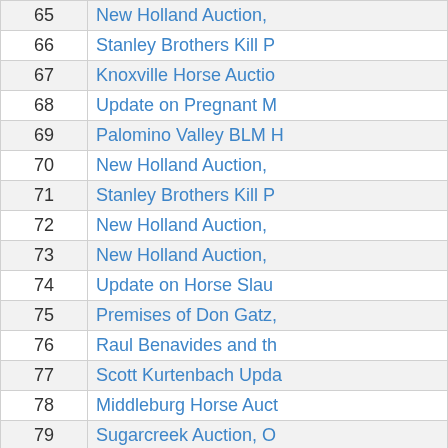| # | Title |
| --- | --- |
| 65 | New Holland Auction, |
| 66 | Stanley Brothers Kill P |
| 67 | Knoxville Horse Auctio |
| 68 | Update on Pregnant M |
| 69 | Palomino Valley BLM H |
| 70 | New Holland Auction, |
| 71 | Stanley Brothers Kill P |
| 72 | New Holland Auction, |
| 73 | New Holland Auction, |
| 74 | Update on Horse Slau |
| 75 | Premises of Don Gatz, |
| 76 | Raul Benavides and th |
| 77 | Scott Kurtenbach Upda |
| 78 | Middleburg Horse Auct |
| 79 | Sugarcreek Auction, O |
| 80 | New Holland Sales Sta |